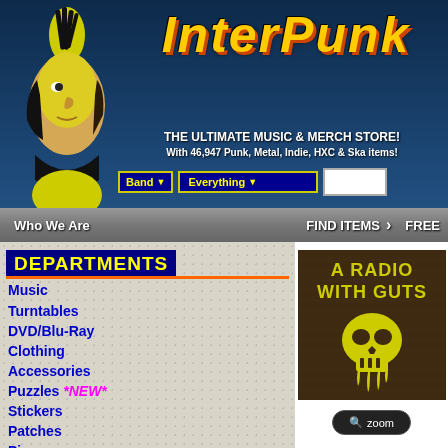[Figure (logo): Interpunk website header with punk character logo and INTERPUNK title text in yellow-orange gradient, taglines about music and merch store]
THE ULTIMATE MUSIC & MERCH STORE!
With 46,947 Punk, Metal, Indie, HXC & Ska items!
Who We Are
FIND ITEMS
FREE
DEPARTMENTS
Music
Turntables
DVD/Blu-Ray
Clothing
Accessories
Puzzles *NEW*
Stickers
Patches
Pins
Key Chains
Posters
Books
[Figure (photo): Product image: dark brown fabric/patch with yellow text 'A RADIO WITH GUTS' and a yellow dripping skull graphic below the text]
zoom